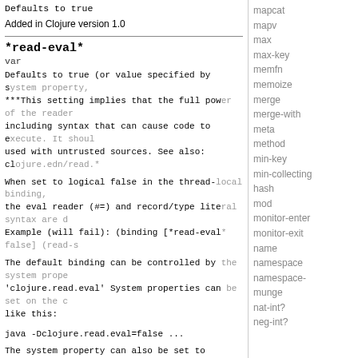Defaults to true
Added in Clojure version 1.0
*read-eval*
var
Defaults to true (or value specified by system property, ***This setting implies that the full power of the reader including syntax that can cause code to execute. It should be used with untrusted sources. See also: clojure.edn/read.*
When set to logical false in the thread-local binding, the eval reader (#=) and record/type literal syntax are d Example (will fail): (binding [*read-eval* false] (read-s
The default binding can be controlled by the system prope 'clojure.read.eval' System properties can be set on the c like this:
java -Dclojure.read.eval=false ...
The system property can also be set to 'unknown' via -Dclojure.read.eval=unknown, in which case the default b
mapcat
mapv
max
max-key
memfn
memoize
merge
merge-with
meta
method
min-key
min-collecting
hash
mod
monitor-enter
monitor-exit
name
namespace
namespace-
munge
nat-int?
neg-int?